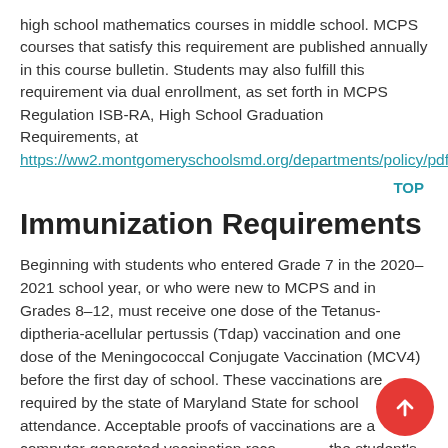high school mathematics courses in middle school. MCPS courses that satisfy this requirement are published annually in this course bulletin. Students may also fulfill this requirement via dual enrollment, as set forth in MCPS Regulation ISB-RA, High School Graduation Requirements, at https://ww2.montgomeryschoolsmd.org/departments/policy/pdf/
TOP
Immunization Requirements
Beginning with students who entered Grade 7 in the 2020–2021 school year, or who were new to MCPS and in Grades 8–12, must receive one dose of the Tetanus-diptheria-acellular pertussis (Tdap) vaccination and one dose of the Meningococcal Conjugate Vaccination (MCV4) before the first day of school. These vaccinations are required by the state of Maryland State for school attendance. Acceptable proofs of vaccinations are a computer-generated vaccination record from the student's healthcare provider or the Maryland Department of Health Immunization Certificate (Form 896), found at